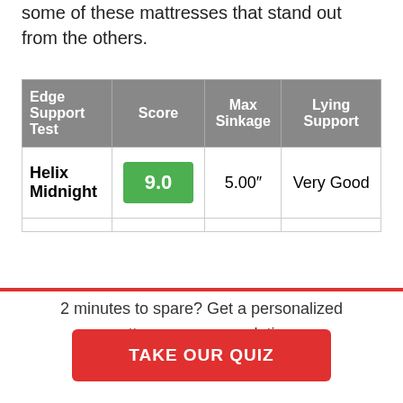some of these mattresses that stand out from the others.
| Edge Support Test | Score | Max Sinkage | Lying Support |
| --- | --- | --- | --- |
| Helix Midnight | 9.0 | 5.00" | Very Good |
2 minutes to spare? Get a personalized mattress recommendation.
TAKE OUR QUIZ